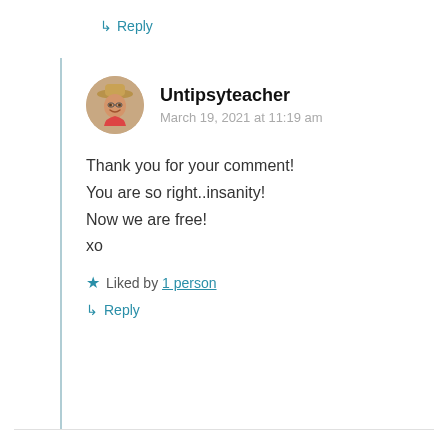↳ Reply
[Figure (photo): Circular avatar photo of Untipsyteacher — person wearing a hat, smiling, outdoors]
Untipsyteacher
March 19, 2021 at 11:19 am
Thank you for your comment! You are so right..insanity! Now we are free! xo
★ Liked by 1 person
↳ Reply